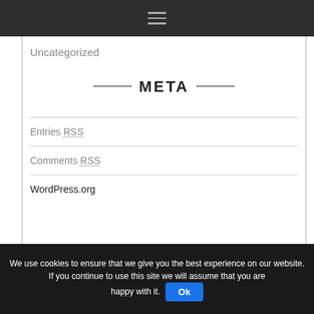≡ (hamburger menu icon)
Uncategorized
META
Entries RSS
Comments RSS
WordPress.org
We use cookies to ensure that we give you the best experience on our website. If you continue to use this site we will assume that you are happy with it. Ok